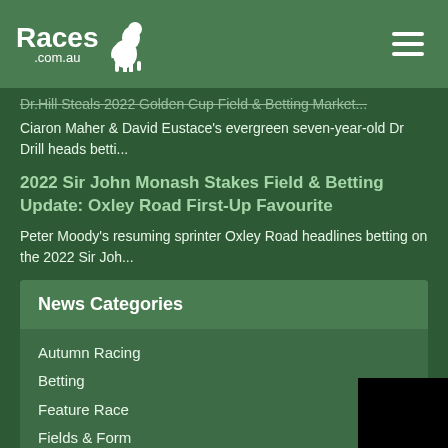Races.com.au
Dr.Hill Steals 2022 Golden Cup Field & Betting Market...
Ciaron Maher & David Eustace's evergreen seven-year-old Dr Drill heads betti...
2022 Sir John Monash Stakes Field & Betting Update: Oxley Road First-Up Favourite
Peter Moody's resuming sprinter Oxley Road headlines betting on the 2022 Sir Joh...
News Categories
Autumn Racing
Betting
Feature Race
Fields & Form